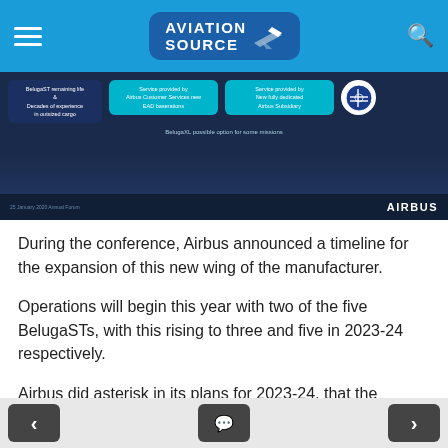Aviation Source
[Figure (screenshot): Airbus presentation slide showing BelugaST service options with blue info boxes and Airbus logo]
During the conference, Airbus announced a timeline for the expansion of this new wing of the manufacturer.
Operations will begin this year with two of the five BelugaSTs, with this rising to three and five in 2023-24 respectively.
Airbus did asterisk in its plans for 2023-24, that the BelugaXL may be used for some missions, which is most likely dependent on the size of cargo being handled.
< navigation buttons >